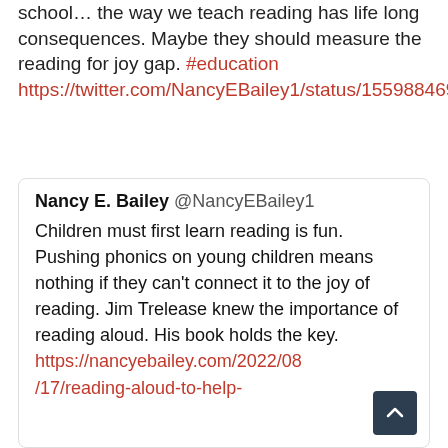school… the way we teach reading has life long consequences. Maybe they should measure the reading for joy gap. #education https://twitter.com/NancyEBailey1/status/1559884690106064900
Nancy E. Bailey @NancyEBailey1 Children must first learn reading is fun. Pushing phonics on young children means nothing if they can't connect it to the joy of reading. Jim Trelease knew the importance of reading aloud. His book holds the key. https://nancyebailey.com/2022/08/17/reading-aloud-to-help-